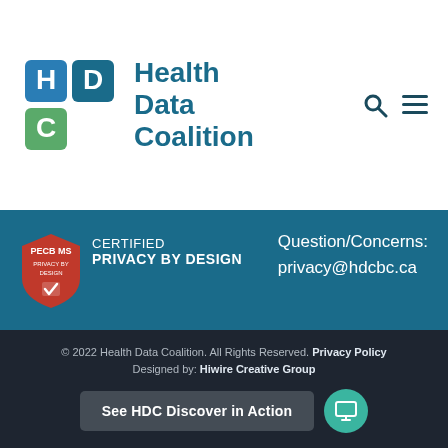[Figure (logo): Health Data Coalition logo with HDC letter blocks in blue, teal and green colors, followed by text 'Health Data Coalition' in teal]
[Figure (logo): PECB MS Certified Privacy by Design badge (red shield) next to text 'CERTIFIED PRIVACY BY DESIGN']
Question/Concerns: privacy@hdcbc.ca
© 2022 Health Data Coalition. All Rights Reserved. Privacy Policy
Designed by: Hiwire Creative Group
See HDC Discover in Action